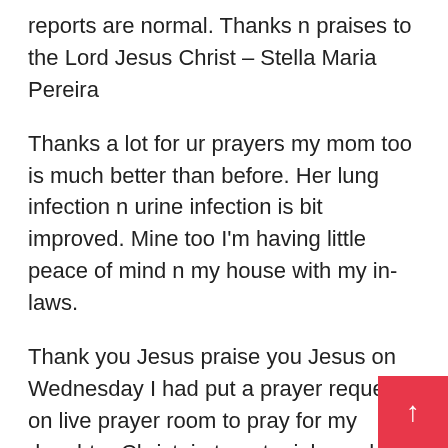reports are normal. Thanks n praises to the Lord Jesus Christ – Stella Maria Pereira
Thanks a lot for ur prayers my mom too is much better than before. Her lung infection n urine infection is bit improved. Mine too I'm having little peace of mind n my house with my in-laws.
Thank you Jesus praise you Jesus on Wednesday I had put a prayer request on live prayer room to pray for my daughter Christein to get a job as she had lost her job during this pandemic she had given many interviews but there was no sign from those co. But I give praise and glory to the blessed lord Jesus as after sending prayer request on Wednesday my daughter got a call on Frida